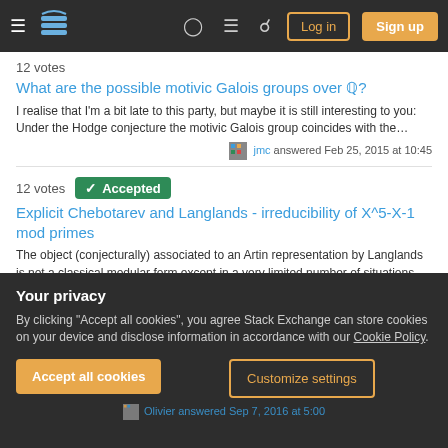Stack Exchange navigation bar with Log in and Sign up buttons
12 votes
What are the possible motivic Galois groups over Q?
I realise that I'm a bit late to this party, but maybe it is still interesting to you: Under the Hodge conjecture the motivic Galois group coincides with the...
jmc answered Feb 25, 2015 at 10:45
12 votes Accepted
Explicit Chebotarev and Langlands - irreducibility of X^5-X-1 mod primes
The object (conjecturally) associated to an Artin representation by Langlands is not a classical modular form except in a very limited number of situations (od...
Electric Penguin answered Aug 14, 2015 at 20:30
Your privacy
By clicking "Accept all cookies", you agree Stack Exchange can store cookies on your device and disclose information in accordance with our Cookie Policy.
Accept all cookies
Customize settings
Olivier answered Sep 7, 2016 at 5:00